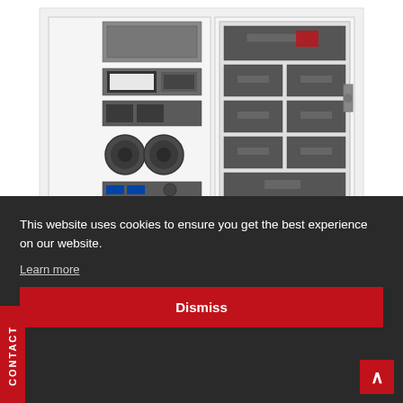[Figure (photo): Large scientific equipment cabinet - Sigray QuantumLeap v210 X-Ray Absorption Spectroscopy system. White cabinet frame with dark grey rack-mounted modules, instrument boxes, circular components (lenses/mirrors), and drawer units visible through open doors.]
This website uses cookies to ensure you get the best experience on our website.
Learn more
Dismiss
Sigray QuantumLeap– v210 X-Ray Absorption Spectroscopy (XAS)